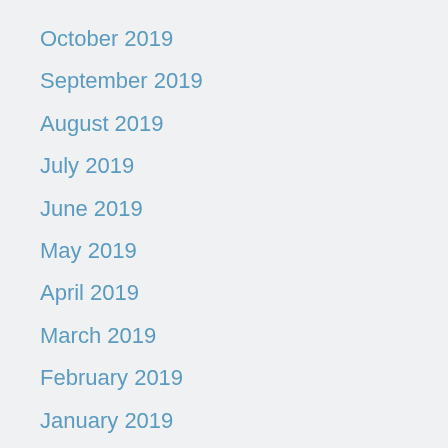October 2019
September 2019
August 2019
July 2019
June 2019
May 2019
April 2019
March 2019
February 2019
January 2019
December 2018
November 2018
October 2018